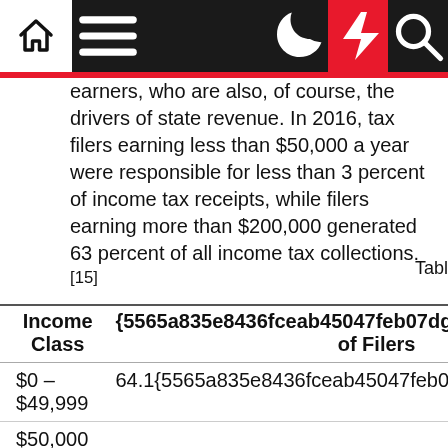[Navigation bar with home, menu, moon, bolt, search icons]
earners, who are also, of course, the drivers of state revenue. In 2016, tax filers earning less than $50,000 a year were responsible for less than 3 percent of income tax receipts, while filers earning more than $200,000 generated 63 percent of all income tax collections.[15]
Tabl
| Income Class | {5565a835e8436fceab45047feb07dgb08a... of Filers |
| --- | --- |
| $0 – $49,999 | 64.1{5565a835e8436fceab45047feb07dgb08... |
| $50,000 – $99,999 | 19.7{5565a835e8436fceab45047feb07dgb08... |
| $100,000 |  |